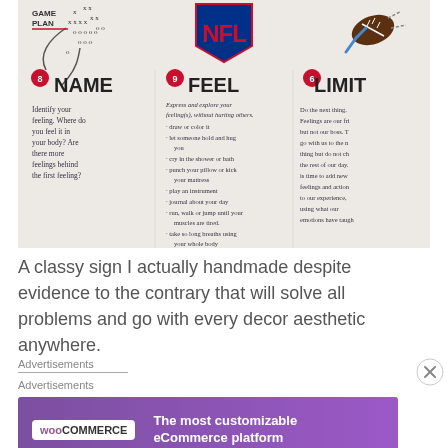[Figure (photo): A handmade sign featuring NFL logo at top center, a football being kicked, a game plan diagram (xs and os), and three columns labeled NAME, FEEL, and LIMIT with handwritten text describing emotional exercises. NAME column: Identify your feeling. Where do you feel it in your body? Are there more feelings behind the first feeling? FEEL column: Express and explore your feeling(s), without hurting others. - draw or color it - let someone hold and hug you - cry in the shower or bath - punch your pillow or kick your mattress - play an instrument - journal about your day - run, walk or jump until your muscles are tired. - take so long breaths using your whole body. LIMIT column: Do the next thing. Feelings are our fri but not our boss. T go with us to the n thing but do not ch the rest of our day. is time to add new feelings and action to our experience, using what our emotions have taugh]
A classy sign I actually handmade despite evidence to the contrary that will solve all problems and go with every decor aesthetic anywhere.
Advertisements
Advertisements
[Figure (screenshot): WooCommerce advertisement banner: purple background with WooCommerce logo on left and text 'The most customizable eCommerce platform' on right]